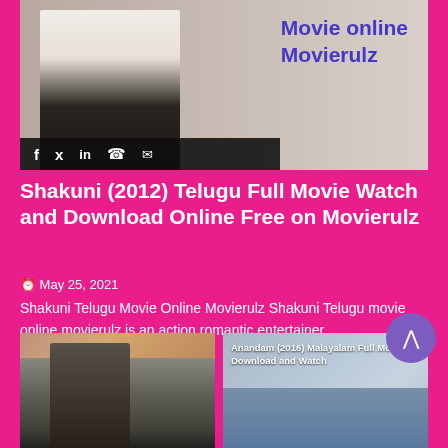[Figure (photo): Movie promotional image showing a couple, with overlay text 'Movie online Movierulz' in blue/purple, and social sharing icons bar at bottom]
Shakuni (2012) Telugu Full Movie Watch and Download Online Free on Movierulz
May 25, 2021
Shakuni Telugu Movie Online Movierulz Shakuni Telugu movie online movierulz is an action romantic entertainer...
[Figure (photo): Man in winter clothes (hat and scarf)]
[Figure (photo): Anandam (2016) Malayalam Full Movie Download and Watch - group of young people smiling]